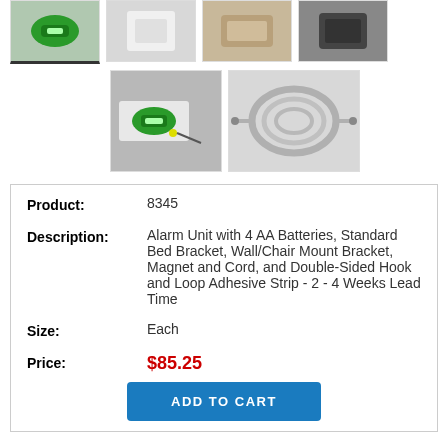[Figure (photo): Row of four product thumbnail images at top of page]
[Figure (photo): Second row of two product thumbnails: alarm unit with cord and a coiled cord separately]
| Product: | 8345 |
| Description: | Alarm Unit with 4 AA Batteries, Standard Bed Bracket, Wall/Chair Mount Bracket, Magnet and Cord, and Double-Sided Hook and Loop Adhesive Strip - 2 - 4 Weeks Lead Time |
| Size: | Each |
| Price: | $85.25 |
ADD TO CART